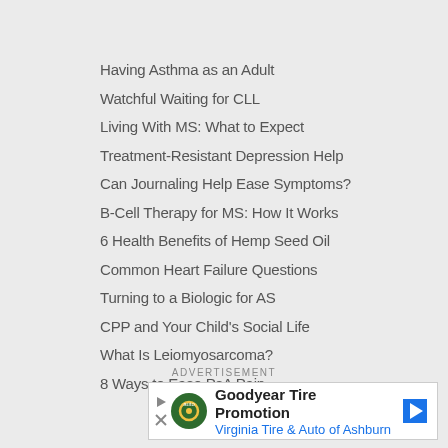Having Asthma as an Adult
Watchful Waiting for CLL
Living With MS: What to Expect
Treatment-Resistant Depression Help
Can Journaling Help Ease Symptoms?
B-Cell Therapy for MS: How It Works
6 Health Benefits of Hemp Seed Oil
Common Heart Failure Questions
Turning to a Biologic for AS
CPP and Your Child's Social Life
What Is Leiomyosarcoma?
8 Ways to Ease PsA Pain
ADVERTISEMENT
[Figure (other): Goodyear Tire Promotion advertisement banner — Virginia Tire & Auto of Ashburn]